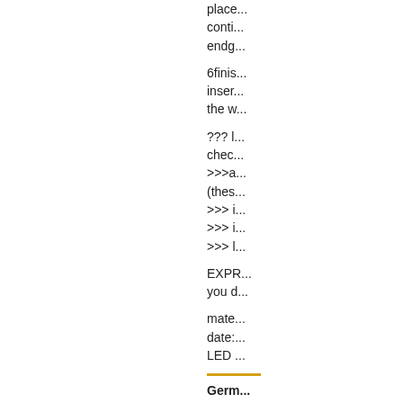place...
conti...
endg...
6finis...
inser...
the w...
??? l...
chec...
>>>a...
(thes...
>>> i...
>>> i...
>>> l...
EXPR...
you d...
mate...
date:...
LED ...
Germ...
eTEX...
ARM...